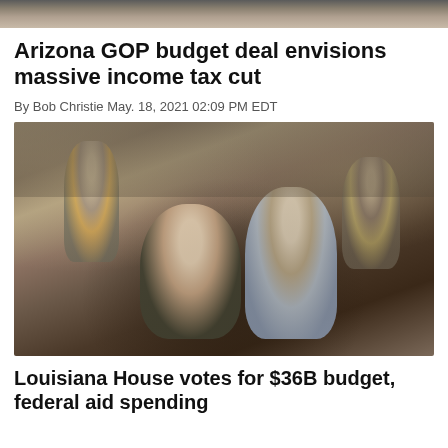[Figure (photo): Top cropped photo of a legislative chamber or crowd scene]
Arizona GOP budget deal envisions massive income tax cut
By Bob Christie May. 18, 2021 02:09 PM EDT
[Figure (photo): Photo of legislators or lawmakers conversing on a House floor, man in dark suit with glasses talking to a woman with long auburn hair in a blue blazer, crowded chamber in background]
Louisiana House votes for $36B budget, federal aid spending